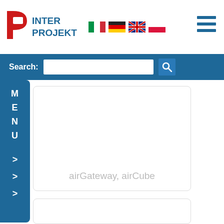Inter Projekt logo with flags (IT, DE, EN, PL) and hamburger menu
Search:
[Figure (screenshot): Product card showing 'airGateway, airCube' label at bottom]
airGateway, airCube
[Figure (screenshot): Second product card, empty content area]